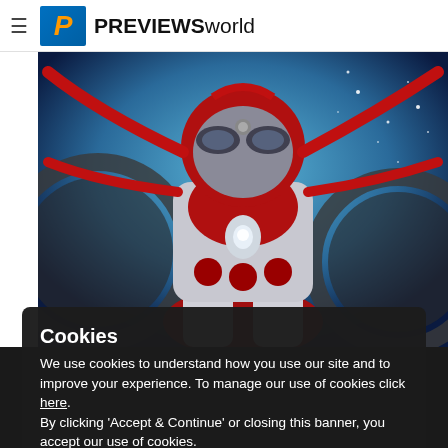PREVIEWS world
[Figure (illustration): Comic book cover art showing an ant-man style superhero in a red and silver armored suit viewed from below against a blue starry space background, with large mechanical arms/tentacles extending from the suit]
Cookies
We use cookies to understand how you use our site and to improve your experience. To manage our use of cookies click here.
By clicking 'Accept & Continue' or closing this banner, you accept our use of cookies.
Accept & Continue